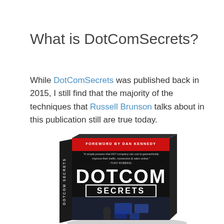What is DotComSecrets?
While DotComSecrets was published back in 2015, I still find that the majority of the techniques that Russell Brunson talks about in this publication still are true today.
[Figure (photo): 3D rendered book cover of 'DotCom Secrets' by Russell Brunson with foreword by Dan Kennedy, showing a dark cover with the title in large white letters and a person working at a computer in the background]